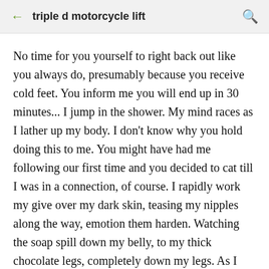triple d motorcycle lift
No time for you yourself to right back out like you always do, presumably because you receive cold feet. You inform me you will end up in 30 minutes... I jump in the shower. My mind races as I lather up my body. I don't know why you hold doing this to me. You might have had me following our first time and you decided to cat till I was in a connection, of course. I rapidly work my give over my dark skin, teasing my nipples along the way, emotion them harden. Watching the soap spill down my belly, to my thick chocolate legs, completely down my legs. As I wash down, I